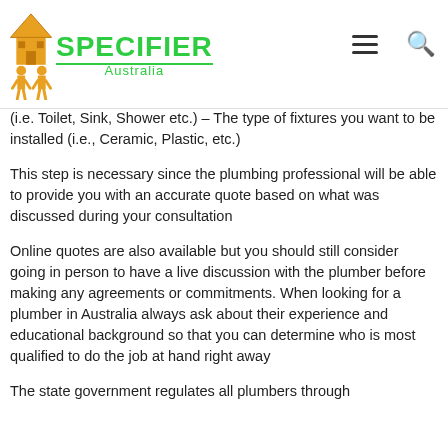SPECIFIER Australia
(i.e. Toilet, Sink, Shower etc.) – The type of fixtures you want to be installed (i.e., Ceramic, Plastic, etc.)
This step is necessary since the plumbing professional will be able to provide you with an accurate quote based on what was discussed during your consultation
Online quotes are also available but you should still consider going in person to have a live discussion with the plumber before making any agreements or commitments. When looking for a plumber in Australia always ask about their experience and educational background so that you can determine who is most qualified to do the job at hand right away
The state government regulates all plumbers through